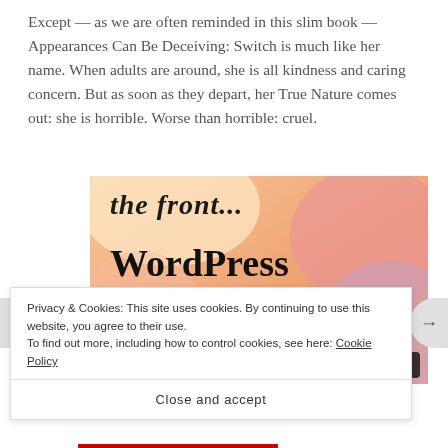Except — as we are often reminded in this slim book — Appearances Can Be Deceiving: Switch is much like her name. When adults are around, she is all kindness and caring concern. But as soon as they depart, her True Nature comes out: she is horrible. Worse than horrible: cruel.
[Figure (screenshot): Advertisement image showing text 'the front...' at top in bold italic, and 'WordPress in the back.' in large bold serif font on an orange/peach gradient background with colorful circles]
Privacy & Cookies: This site uses cookies. By continuing to use this website, you agree to their use.
To find out more, including how to control cookies, see here: Cookie Policy
Close and accept